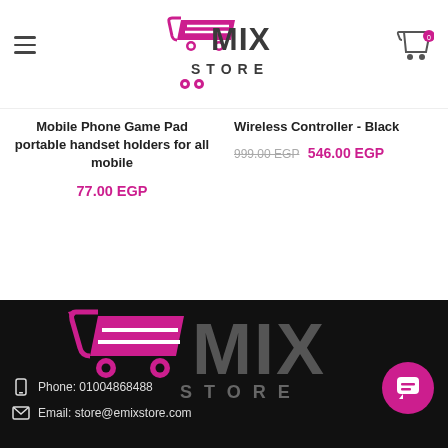EMIX STORE
Wireless Controller - Black
999.00 EGP 546.00 EGP
Mobile Phone Game Pad portable handset holders for all mobile
77.00 EGP
[Figure (logo): EMIX STORE logo on black background — large version in footer]
Phone: 01004868488
Email: store@emixstore.com